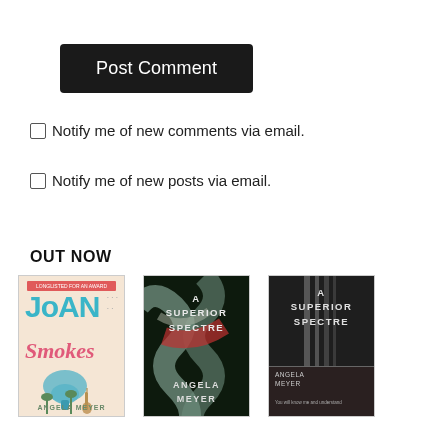Post Comment
Notify me of new comments via email.
Notify me of new posts via email.
OUT NOW
[Figure (illustration): Three book covers: Joan Smokes by Angela Meyer, A Superior Spectre by Angela Meyer (dark swirl cover), and A Superior Spectre by Angela Meyer (dark room cover)]